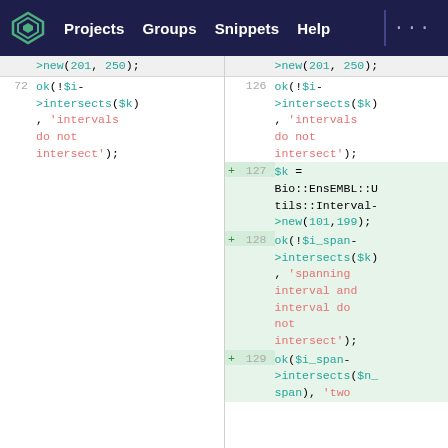Projects  Groups  Snippets  Help  ...
[Figure (screenshot): Code diff view showing two columns of Perl/code lines. Left column: line 72 shows ok(!$i->intersects($k), 'intervals do not intersect');. Right column: line 126 shows same, lines 127-129 are additions (green highlight) showing $k = Bio::EnsEMBL::Utils::Interval->new(101,199); ok(!$i_span->intersects($k), 'spanning interval and interval do not intersect'); ok($i_span->intersects($n_span), 'two]